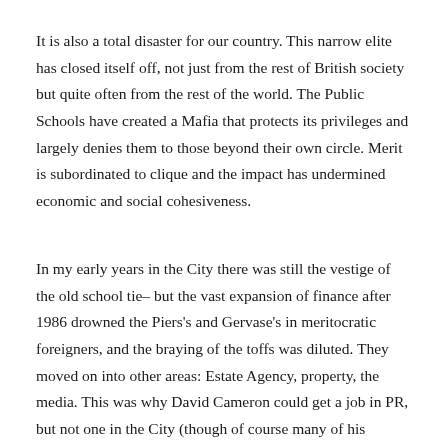It is also a total disaster for our country. This narrow elite has closed itself off, not just from the rest of British society but quite often from the rest of the world. The Public Schools have created a Mafia that protects its privileges and largely denies them to those beyond their own circle. Merit is subordinated to clique and the impact has undermined economic and social cohesiveness.
In my early years in the City there was still the vestige of the old school tie– but the vast expansion of finance after 1986 drowned the Piers's and Gervase's in meritocratic foreigners, and the braying of the toffs was diluted. They moved on into other areas: Estate Agency, property, the media. This was why David Cameron could get a job in PR, but not one in the City (though of course many of his